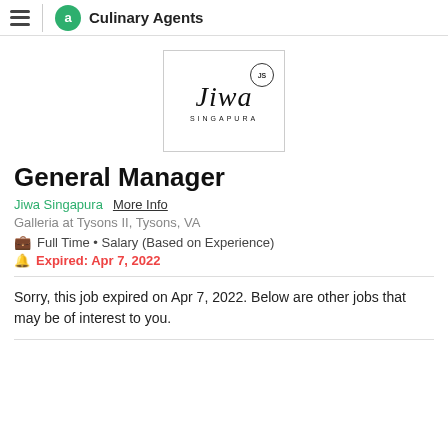Culinary Agents
[Figure (logo): Jiwa Singapura logo — stylized italic text 'Jiwa' with 'SINGAPURA' below, and a small circular 'JS' badge.]
General Manager
Jiwa Singapura   More Info
Galleria at Tysons II, Tysons, VA
Full Time • Salary (Based on Experience)
Expired: Apr 7, 2022
Sorry, this job expired on Apr 7, 2022. Below are other jobs that may be of interest to you.